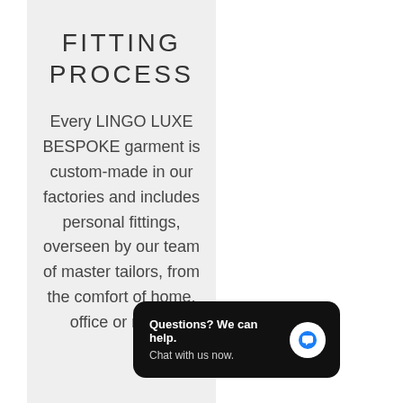FITTING PROCESS
Every LINGO LUXE BESPOKE garment is custom-made in our factories and includes personal fittings, overseen by our team of master tailors, from the comfort of home, office or room.
[Figure (screenshot): Chat widget overlay with black rounded rectangle background. Text reads 'Questions? We can help.' and 'Chat with us now.' with a blue speech bubble icon on the right.]